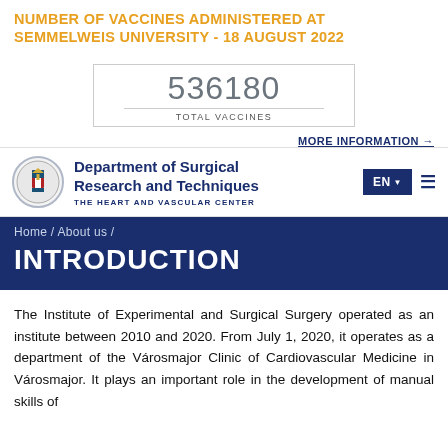NUMBER OF VACCINES ADMINISTERED AT SEMMELWEIS UNIVERSITY - 18 AUGUST 2022
[Figure (infographic): Vaccine counter box showing 536180 total vaccines]
MORE INFORMATION →
[Figure (logo): Semmelweis University Department of Surgical Research and Techniques, The Heart and Vascular Center logo and navigation bar with EN language selector and hamburger menu]
Home / About us /
INTRODUCTION
The Institute of Experimental and Surgical Surgery operated as an institute between 2010 and 2020. From July 1, 2020, it operates as a department of the Városmajor Clinic of Cardiovascular Medicine in Városmajor. It plays an important role in the development of manual skills of